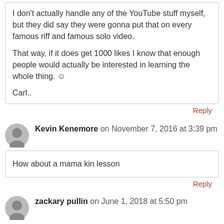I don't actually handle any of the YouTube stuff myself, but they did say they were gonna put that on every famous riff and famous solo video.

That way, if it does get 1000 likes I know that enough people would actually be interested in learning the whole thing. ☺

Carl..
Reply
Kevin Kenemore on November 7, 2016 at 3:39 pm
How about a mama kin lesson
Reply
zackary pullin on June 1, 2018 at 5:50 pm